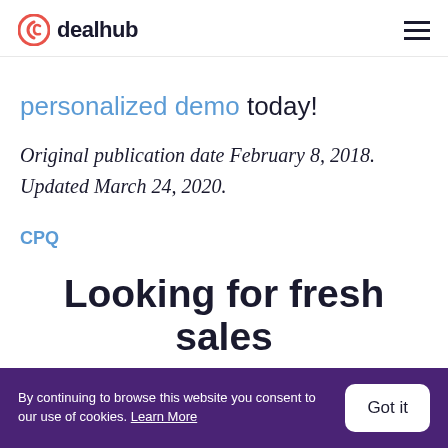dealhub
personalized demo today!
Original publication date February 8, 2018. Updated March 24, 2020.
CPQ
Looking for fresh sales
By continuing to browse this website you consent to our use of cookies. Learn More